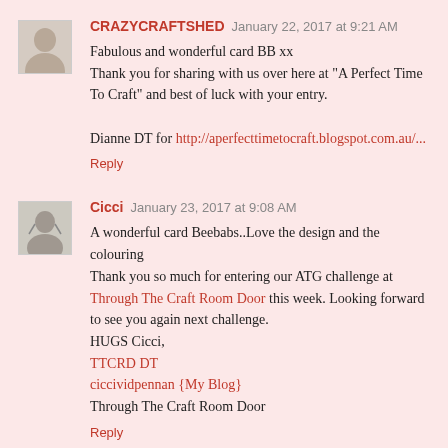[Figure (photo): Avatar photo of CRAZYCRAFTSHED commenter — person photo thumbnail]
CRAZYCRAFTSHED January 22, 2017 at 9:21 AM
Fabulous and wonderful card BB xx
Thank you for sharing with us over here at "A Perfect Time To Craft" and best of luck with your entry.

Dianne DT for http://aperfecttimetocraft.blogspot.com.au/...
Reply
[Figure (photo): Avatar photo of Cicci commenter — sketch style thumbnail]
Cicci January 23, 2017 at 9:08 AM
A wonderful card Beebabs..Love the design and the colouring
Thank you so much for entering our ATG challenge at Through The Craft Room Door this week. Looking forward to see you again next challenge.
HUGS Cicci,
TTCRD DT
ciccividpennan {My Blog}
Through The Craft Room Door
Reply